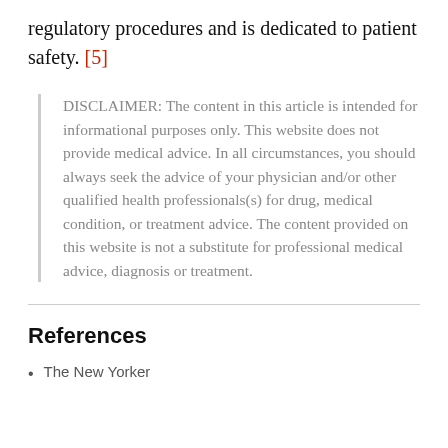regulatory procedures and is dedicated to patient safety. [5]
DISCLAIMER: The content in this article is intended for informational purposes only. This website does not provide medical advice. In all circumstances, you should always seek the advice of your physician and/or other qualified health professionals(s) for drug, medical condition, or treatment advice. The content provided on this website is not a substitute for professional medical advice, diagnosis or treatment.
References
The New Yorker